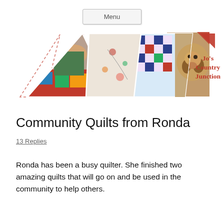Menu
[Figure (illustration): Jo's Country Junction blog banner with triangular photo collage showing a person on a quilt, embroidery/quilt detail, colorful quilt pattern, and a dog, with 'Jo's Country Junction' text in red on the right side.]
Community Quilts from Ronda
13 Replies
Ronda has been a busy quilter. She finished two amazing quilts that will go on and be used in the community to help others.